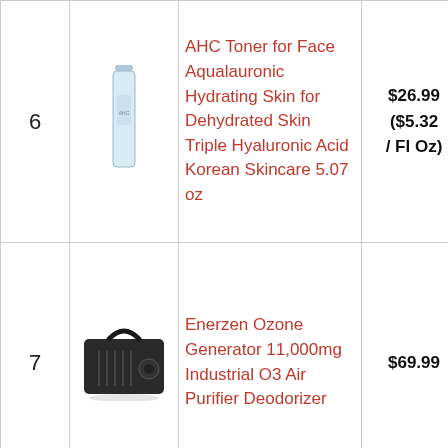| # | Image | Product Name | Price | Action |
| --- | --- | --- | --- | --- |
| 6 | [toner image] | AHC Toner for Face Aqualauronic Hydrating Skin for Dehydrated Skin Triple Hyaluronic Acid Korean Skincare 5.07 oz | $26.99 ($5.32 / Fl Oz) | Buy on Amazon |
| 7 | [ozone generator image] | Enerzen Ozone Generator 11,000mg Industrial O3 Air Purifier Deodorizer | $69.99 | Buy on Amazon |